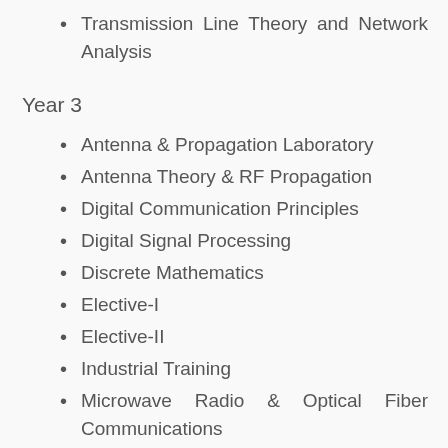Transmission Line Theory and Network Analysis
Year 3
Antenna & Propagation Laboratory
Antenna Theory & RF Propagation
Digital Communication Principles
Digital Signal Processing
Discrete Mathematics
Elective-I
Elective-II
Industrial Training
Microwave Radio & Optical Fiber Communications
Microwave…